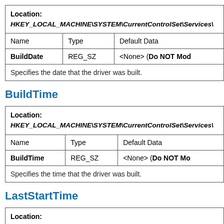| Name | Type | Default Data |
| --- | --- | --- |
| BuildDate | REG_SZ | <None> (Do NOT Mod… |
BuildTime
| Name | Type | Default Data |
| --- | --- | --- |
| BuildTime | REG_SZ | <None> (Do NOT Mo… |
LastStartTime